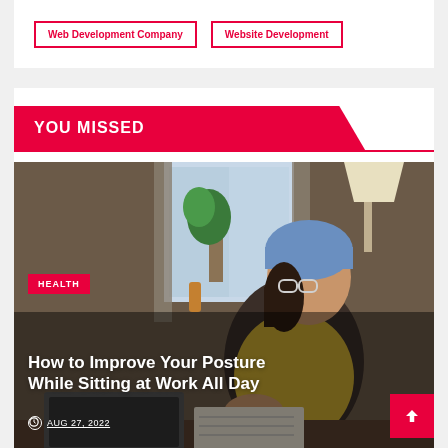Web Development Company
Website Development
YOU MISSED
[Figure (photo): A person wearing glasses and a blue beanie hat sitting at a desk working, with a plant and window in the background]
HEALTH
How to Improve Your Posture While Sitting at Work All Day
AUG 27, 2022